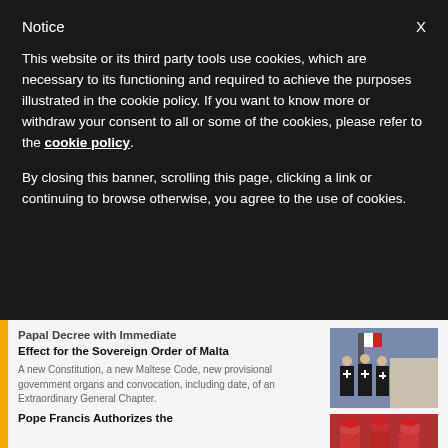Notice
This website or its third party tools use cookies, which are necessary to its functioning and required to achieve the purposes illustrated in the cookie policy. If you want to know more or withdraw your consent to all or some of the cookies, please refer to the cookie policy.
By closing this banner, scrolling this page, clicking a link or continuing to browse otherwise, you agree to the use of cookies.
Papal Decree with Immediate Effect for the Sovereign Order of Malta
A new Constitution, a new Maltese Code, new provisional government organs and convocation, including date, of an Extraordinary General Chapter.
Pope Francis Authorizes the
[Figure (photo): Members of the Sovereign Order of Malta in ceremonial black robes with white Maltese crosses, carrying red and white flags, in a public square.]
[Figure (photo): Group of cardinals in red robes and caps.]